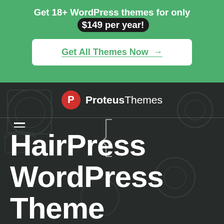Get 18+ WordPress themes for only $149 per year!
Get All Themes Now →
[Figure (logo): Proteus Themes logo with red P icon and white text]
HairPress WordPress Theme